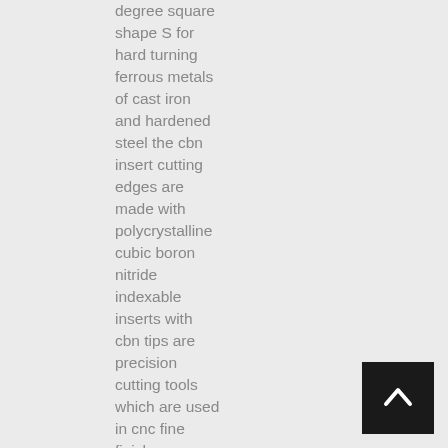degree square shape S for hard turning ferrous metals of cast iron and hardened steel the cbn insert cutting edges are made with polycrystalline cubic boron nitride indexable inserts with cbn tips are precision cutting tools which are used in cnc fine finish machining and turning roller bearing pumps automobile brake disk
[Figure (other): Back to top button — dark square with upward chevron arrow icon]